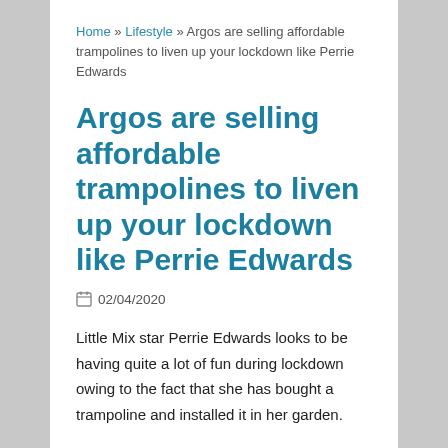Home » Lifestyle » Argos are selling affordable trampolines to liven up your lockdown like Perrie Edwards
Argos are selling affordable trampolines to liven up your lockdown like Perrie Edwards
02/04/2020
Little Mix star Perrie Edwards looks to be having quite a lot of fun during lockdown owing to the fact that she has bought a trampoline and installed it in her garden.